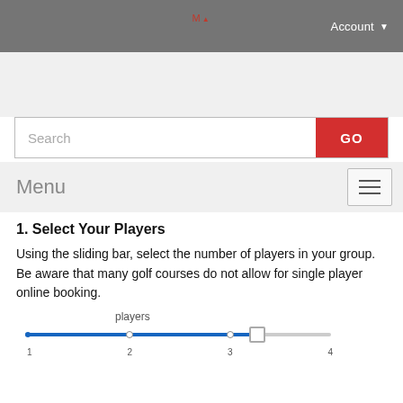Account
[Figure (screenshot): Search bar with text 'Search' placeholder and red 'GO' button]
Menu
1. Select Your Players
Using the sliding bar, select the number of players in your group. Be aware that many golf courses do not allow for single player online booking.
[Figure (other): A horizontal slider labeled 'players' with values 1 through 4, positioned near value 4]